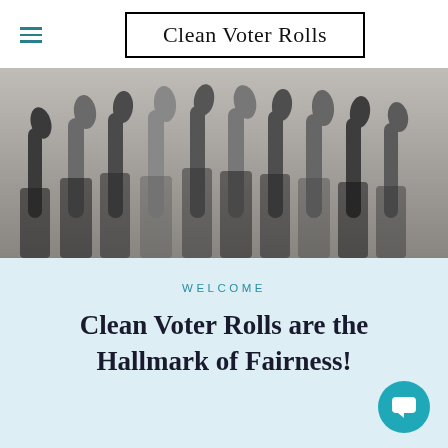Clean Voter Rolls
[Figure (photo): Black and white photo of multiple hands raised with thumbs up gesture against a grey background]
WELCOME
Clean Voter Rolls are the Hallmark of Fairness!